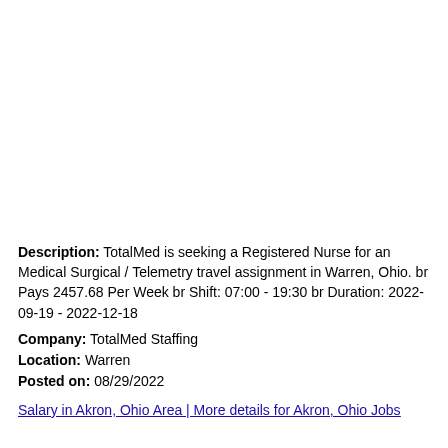Description: TotalMed is seeking a Registered Nurse for an Medical Surgical / Telemetry travel assignment in Warren, Ohio. br Pays 2457.68 Per Week br Shift: 07:00 - 19:30 br Duration: 2022-09-19 - 2022-12-18
Company: TotalMed Staffing
Location: Warren
Posted on: 08/29/2022
Salary in Akron, Ohio Area | More details for Akron, Ohio Jobs